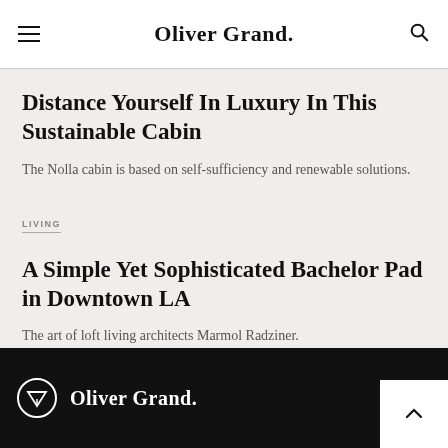Oliver Grand.
Distance Yourself In Luxury In This Sustainable Cabin
The Nolla cabin is based on self-sufficiency and renewable solutions.
LIVING
A Simple Yet Sophisticated Bachelor Pad in Downtown LA
The art of loft living architects Marmol Radziner.
Oliver Grand.